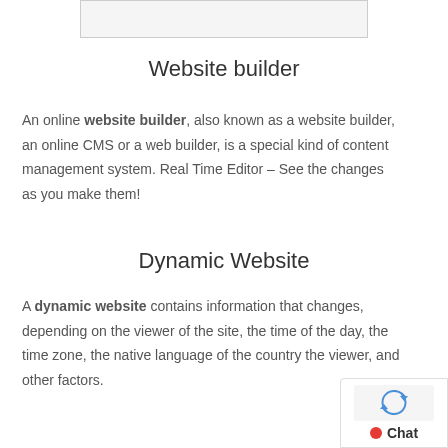[Figure (other): Placeholder image box at top of page]
Website builder
An online website builder, also known as a website builder, an online CMS or a web builder, is a special kind of content management system. Real Time Editor – See the changes as you make them!
Dynamic Website
A dynamic website contains information that changes, depending on the viewer of the site, the time of the day, the time zone, the native language of the country the viewer, and other factors.